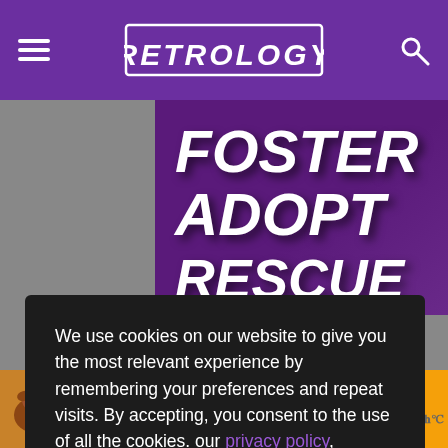RETROLOGY
[Figure (illustration): Partially visible banner image with purple background showing bold italic text: FOSTER, ADOPT, RESCUE in white]
We use cookies on our website to give you the most relevant experience by remembering your preferences and repeat visits. By accepting, you consent to the use of all the cookies. our privacy policy, disclosure, and terms.
[Figure (screenshot): Accept button for cookie consent - purple button with white text 'Accept']
[Figure (infographic): Advertisement banner at bottom: dog photo on left, orange background with text FOSTER. ADOPT. RESCUE. ADVOCATE. Close button and brand logo at right]